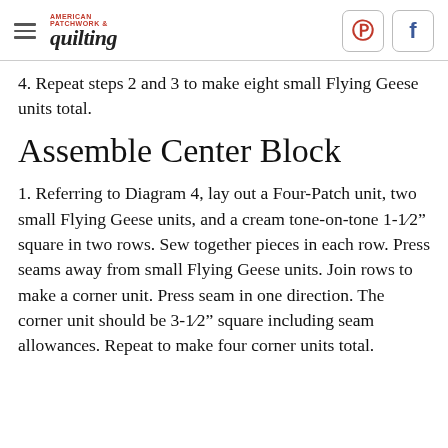AMERICAN PATCHWORK & quilting
4. Repeat steps 2 and 3 to make eight small Flying Geese units total.
Assemble Center Block
1. Referring to Diagram 4, lay out a Four-Patch unit, two small Flying Geese units, and a cream tone-on-tone 1-1⁄2" square in two rows. Sew together pieces in each row. Press seams away from small Flying Geese units. Join rows to make a corner unit. Press seam in one direction. The corner unit should be 3-1⁄2" square including seam allowances. Repeat to make four corner units total.